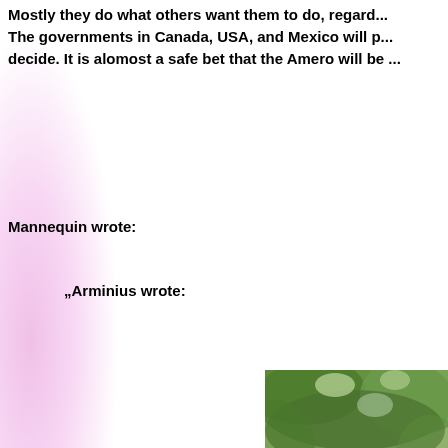Mostly they do what others want them to do, regard... The governments in Canada, USA, and Mexico will ... decide. It is alomost a safe bet that the Amero will be ...
Mannequin wrote:
„Arminius wrote:
[Figure (photo): A photo showing a large tree trunk or log in a forest/jungle setting with green foliage in the background and what appears to be an animal (possibly a bear or large mammal) at the base.]